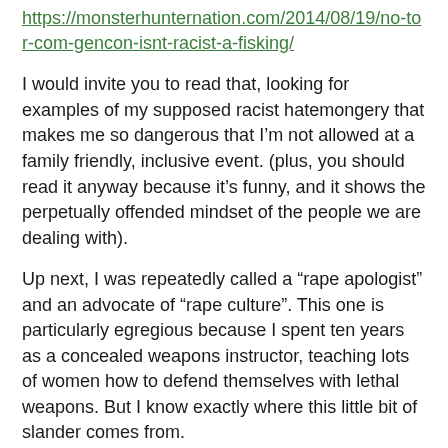https://monsterhunternation.com/2014/08/19/no-tor-com-gencon-isnt-racist-a-fisking/
I would invite you to read that, looking for examples of my supposed racist hatemongery that makes me so dangerous that I’m not allowed at a family friendly, inclusive event. (plus, you should read it anyway because it’s funny, and it shows the perpetually offended mindset of the people we are dealing with).
Up next, I was repeatedly called a “rape apologist” and an advocate of “rape culture”.  This one is particularly egregious because I spent ten years as a concealed weapons instructor, teaching lots of women how to defend themselves with lethal weapons. But I know exactly where this little bit of slander comes from.
It is also from four years ago. Remember when one of the Ms. America contestants said she was in favor of women learning